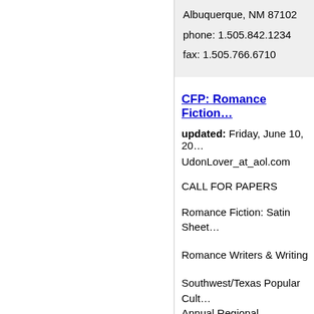Albuquerque, NM 87102
phone: 1.505.842.1234
fax: 1.505.766.6710
CFP: Romance Fiction...
updated: Friday, June 10, 20...
UdonLover_at_aol.com
CALL FOR PAPERS
Romance Fiction: Satin Sheet...
Romance Writers & Writing
Southwest/Texas Popular Cult...
Annual Regional Conference
February 8-11, 2006
Albuquerque, New Mexico